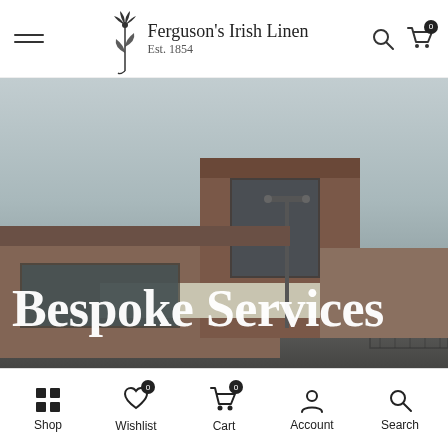Ferguson's Irish Linen Est. 1854
[Figure (photo): Exterior photograph of Ferguson's Irish Linen factory building, a brick structure with large windows and stone base, photographed on an overcast day. Overlay text reads 'Bespoke Services' in large white serif font.]
Shop | Wishlist | Cart | Account | Search